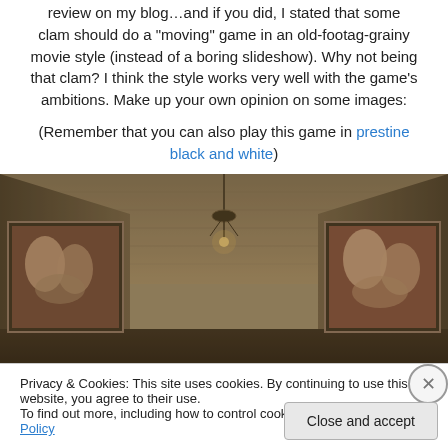review on my blog...and if you did, I stated that some clam should do a “moving” game in an old-footag-grainy movie style (instead of a boring slideshow). Why not being that clam? I think the style works very well with the game’s ambitions. Make up your own opinion on some images:
(Remember that you can also play this game in prestine black and white)
[Figure (screenshot): A dark, sepia-toned interior room with a rough ceiling, a hanging chandelier, and two framed paintings on the walls, giving an old grainy movie aesthetic.]
Privacy & Cookies: This site uses cookies. By continuing to use this website, you agree to their use.
To find out more, including how to control cookies, see here: Cookie Policy